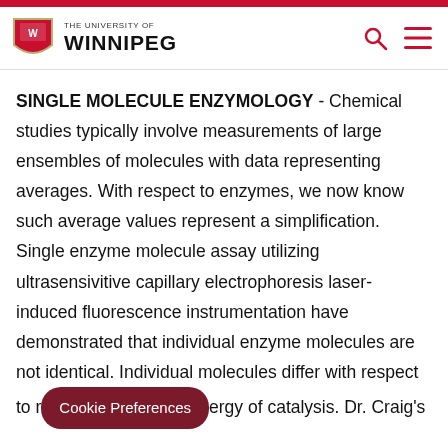THE UNIVERSITY OF WINNIPEG
SINGLE MOLECULE ENZYMOLOGY - Chemical studies typically involve measurements of large ensembles of molecules with data representing averages. With respect to enzymes, we now know such average values represent a simplification. Single enzyme molecule assay utilizing ultrasensivitive capillary electrophoresis laser-induced fluorescence instrumentation have demonstrated that individual enzyme molecules are not identical. Individual molecules differ with respect to r[Cookie Preferences]ergy of catalysis. Dr. Craig's